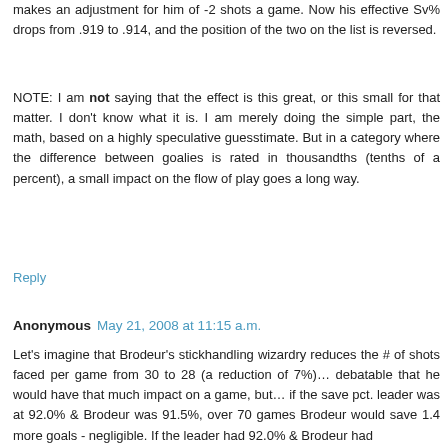makes an adjustment for him of -2 shots a game. Now his effective Sv% drops from .919 to .914, and the position of the two on the list is reversed.
NOTE: I am not saying that the effect is this great, or this small for that matter. I don't know what it is. I am merely doing the simple part, the math, based on a highly speculative guesstimate. But in a category where the difference between goalies is rated in thousandths (tenths of a percent), a small impact on the flow of play goes a long way.
Reply
Anonymous May 21, 2008 at 11:15 a.m.
Let's imagine that Brodeur's stickhandling wizardry reduces the # of shots faced per game from 30 to 28 (a reduction of 7%)… debatable that he would have that much impact on a game, but… if the save pct. leader was at 92.0% & Brodeur was 91.5%, over 70 games Brodeur would save 1.4 more goals - negligible. If the leader had 92.0% & Brodeur had 91.0%, over 70 games Brodeur would save 2.8 more goals...